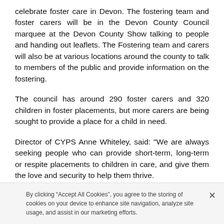celebrate foster care in Devon. The fostering team and foster carers will be in the Devon County Council marquee at the Devon County Show talking to people and handing out leaflets. The Fostering team and carers will also be at various locations around the county to talk to members of the public and provide information on the fostering.
The council has around 290 foster carers and 320 children in foster placements, but more carers are being sought to provide a place for a child in need.
Director of CYPS Anne Whiteley, said: "We are always seeking people who can provide short-term, long-term or respite placements to children in care, and give them the love and security to help them thrive.
By clicking “Accept All Cookies”, you agree to the storing of cookies on your device to enhance site navigation, analyze site usage, and assist in our marketing efforts.